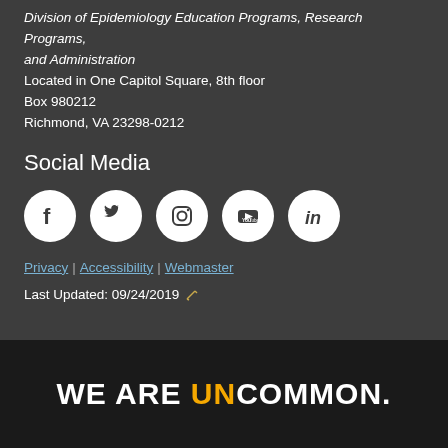Division of Epidemiology Education Programs, Research Programs, and Administration
Located in One Capitol Square, 8th floor
Box 980212
Richmond, VA 23298-0212
Social Media
[Figure (other): Row of social media icons: Facebook, Twitter, Instagram, YouTube, LinkedIn — white circles on dark background]
Privacy | Accessibility | Webmaster
Last Updated: 09/24/2019
WE ARE UNCOMMON.